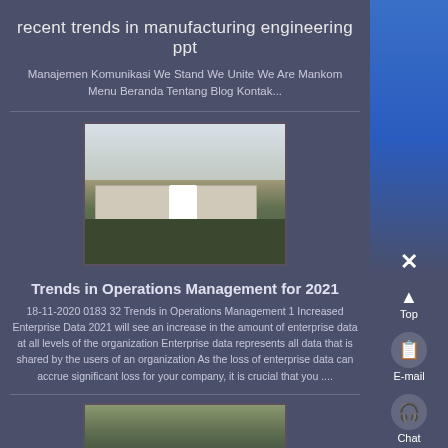recent trends in manufacturing engineering ppt
Manajemen Komunikasi We Stand We Unite We Are Mankom Menu Beranda Tentang Blog Kontak...
[Figure (photo): Outdoor scene with a white-robed figure standing in front of a large building on open ground]
Trends in Operations Management for 2021
18-11-2020 0183 32 Trends in Operations Management 1 Increased Enterprise Data 2021 will see an increase in the amount of enterprise data at all levels of the organization Enterprise data represents all data that is shared by the users of an organization As the loss of enterprise data can accrue significant loss for your company, it is crucial that you ....
[Figure (photo): Outdoor landscape scene partially visible at bottom of page]